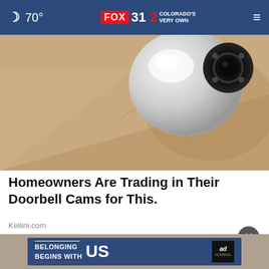🌙 70°  FOX 31  2 COLORADO'S VERY OWN  ≡
[Figure (photo): Close-up photo of a white dome security camera mounted on a beige/tan wall]
Homeowners Are Trading in Their Doorbell Cams for This.
Keilini.com
[Figure (infographic): Advertisement banner: 'BELONGING BEGINS WITH US' with Ad Council logo, overlaid on a partially visible street photo]